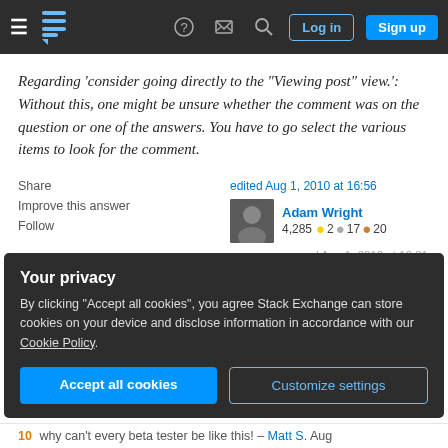Stack Exchange navigation bar with Log in and Sign up buttons
Regarding 'consider going directly to the "Viewing post" view.': Without this, one might be unsure whether the comment was on the question or one of the answers. You have to go select the various items to look for the comment.
Share   Improve this answer   Follow
edited Aug 1, 2010 at 16:56  Adam Wright  4,285 ●2 ●17 ●20
answered Aug 1, 2010 at 16:31
Your privacy
By clicking "Accept all cookies", you agree Stack Exchange can store cookies on your device and disclose information in accordance with our Cookie Policy.
Accept all cookies   Customize settings
10  why can't every beta tester be like this! – Matt S. Aug